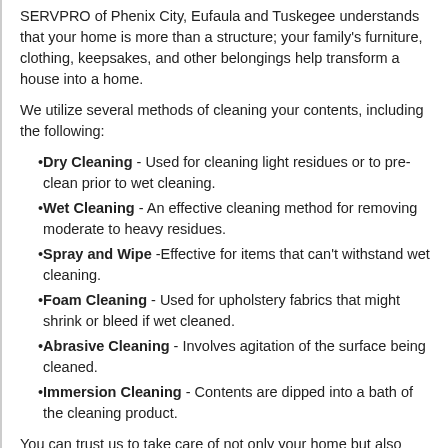SERVPRO of Phenix City, Eufaula and Tuskegee understands that your home is more than a structure; your family's furniture, clothing, keepsakes, and other belongings help transform a house into a home.
We utilize several methods of cleaning your contents, including the following:
Dry Cleaning - Used for cleaning light residues or to pre-clean prior to wet cleaning.
Wet Cleaning - An effective cleaning method for removing moderate to heavy residues.
Spray and Wipe -Effective for items that can't withstand wet cleaning.
Foam Cleaning - Used for upholstery fabrics that might shrink or bleed if wet cleaned.
Abrasive Cleaning - Involves agitation of the surface being cleaned.
Immersion Cleaning - Contents are dipped into a bath of the cleaning product.
You can trust us to take care of not only your home but also your belongings.